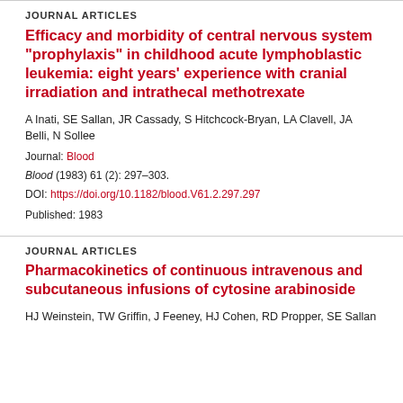JOURNAL ARTICLES
Efficacy and morbidity of central nervous system "prophylaxis" in childhood acute lymphoblastic leukemia: eight years' experience with cranial irradiation and intrathecal methotrexate
A Inati, SE Sallan, JR Cassady, S Hitchcock-Bryan, LA Clavell, JA Belli, N Sollee
Journal: Blood
Blood (1983) 61 (2): 297–303.
DOI: https://doi.org/10.1182/blood.V61.2.297.297
Published: 1983
JOURNAL ARTICLES
Pharmacokinetics of continuous intravenous and subcutaneous infusions of cytosine arabinoside
HJ Weinstein, TW Griffin, J Feeney, HJ Cohen, RD Propper, SE Sallan